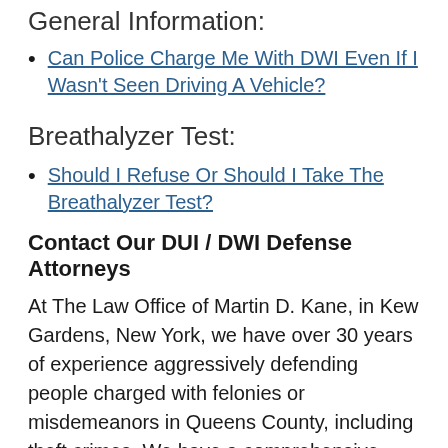General Information:
Can Police Charge Me With DWI Even If I Wasn't Seen Driving A Vehicle?
Breathalyzer Test:
Should I Refuse Or Should I Take The Breathalyzer Test?
Contact Our DUI / DWI Defense Attorneys
At The Law Office of Martin D. Kane, in Kew Gardens, New York, we have over 30 years of experience aggressively defending people charged with felonies or misdemeanors in Queens County, including theft crimes. We have a comprehensive understanding of the drunk driving law and the procedures involved in a criminal proceeding. We can quickly evaluate your case and identify the best